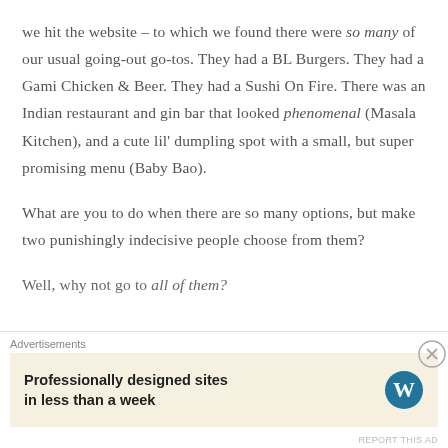we hit the website – to which we found there were so many of our usual going-out go-tos. They had a BL Burgers. They had a Gami Chicken & Beer. They had a Sushi On Fire. There was an Indian restaurant and gin bar that looked phenomenal (Masala Kitchen), and a cute lil' dumpling spot with a small, but super promising menu (Baby Bao).
What are you to do when there are so many options, but make two punishingly indecisive people choose from them?
Well, why not go to all of them?
Advertisements
Professionally designed sites in less than a week